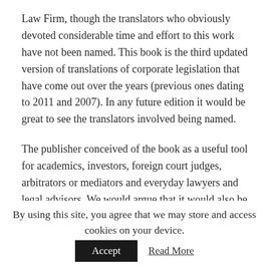Law Firm, though the translators who obviously devoted considerable time and effort to this work have not been named. This book is the third updated version of translations of corporate legislation that have come out over the years (previous ones dating to 2011 and 2007). In any future edition it would be great to see the translators involved being named.
The publisher conceived of the book as a useful tool for academics, investors, foreign court judges, arbitrators or mediators and everyday lawyers and legal advisors. We would argue that it would also be useful to accountants and tax planners.
Interestingly, the publishers also mention that the book could be a useful tool to legal translators translating into English. It is increasingly common that publishers of law books are recognising
By using this site, you agree that we may store and access cookies on your device.